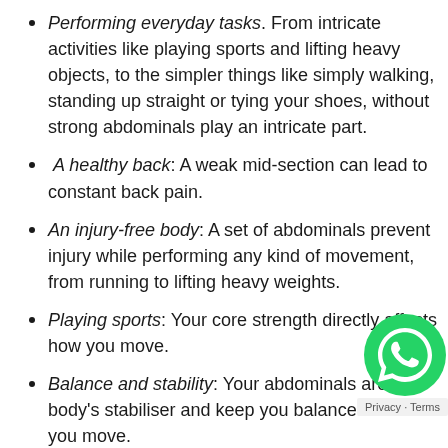Performing everyday tasks: From intricate activities like playing sports and lifting heavy objects, to the simpler things like simply walking, standing up straight or tying your shoes, without strong abdominals play an intricate part.
A healthy back: A weak mid-section can lead to constant back pain.
An injury-free body: A set of abdominals prevent injury while performing any kind of movement, from running to lifting heavy weights.
Playing sports: Your core strength directly affects how you move.
Balance and stability: Your abdominals are your body's stabiliser and keep you balanced while you move.
Good posture: If the muscles in your mid-section...